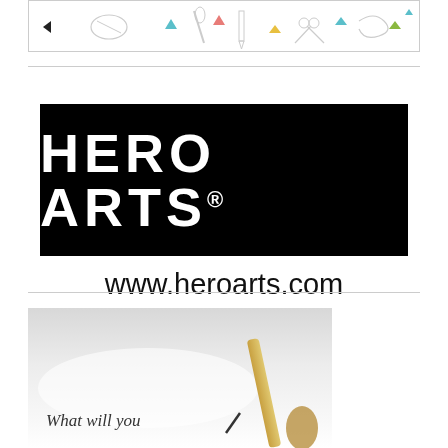[Figure (illustration): Decorative banner with small colorful triangle/arrow shapes and outline drawings of craft tools (scissors, paintbrush, pencils) on white background]
[Figure (logo): Hero Arts logo — bold white uppercase text 'HERO ARTS' with registered trademark symbol on solid black rectangular background]
www.heroarts.com
[Figure (photo): Partial photo showing white/light surface with a paintbrush handle visible at bottom right, and italic text overlay reading 'What will you']